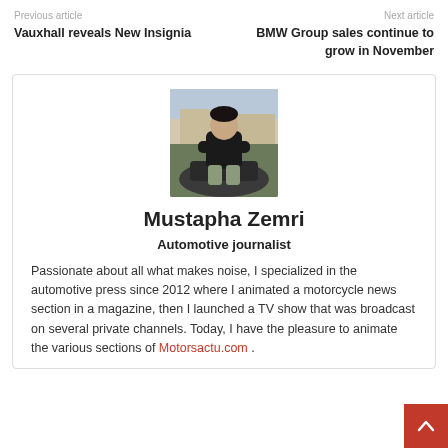Previous article
Next article
Vauxhall reveals New Insignia
BMW Group sales continue to grow in November
[Figure (photo): Photo of Mustapha Zemri, a man sitting on a motorcycle with arms crossed, outdoors with buildings in the background.]
Mustapha Zemri
Automotive journalist
Passionate about all what makes noise, I specialized in the automotive press since 2012 where I animated a motorcycle news section in a magazine, then I launched a TV show that was broadcast on several private channels. Today, I have the pleasure to animate the various sections of Motorsactu.com .